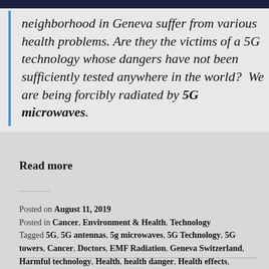neighborhood in Geneva suffer from various health problems. Are they the victims of a 5G technology whose dangers have not been sufficiently tested anywhere in the world?  We are being forcibly radiated by 5G microwaves.
Read more
Posted on August 11, 2019
Posted in Cancer, Environment & Health, Technology
Tagged 5G, 5G antennas, 5g microwaves, 5G Technology, 5G towers, Cancer, Doctors, EMF Radiation, Geneva Switzerland, Harmful technology, Health, health danger, Health effects, Scientists, Side Effects, Technology, telecommunication, Wi-Fi.